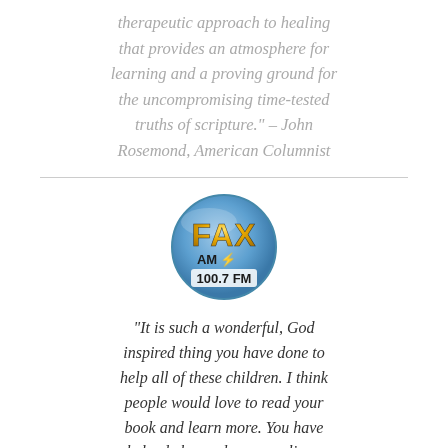therapeutic approach to healing that provides an atmosphere for learning and a proving ground for the uncompromising time-tested truths of scripture." – John Rosemond, American Columnist
[Figure (logo): FAX AM radio station circular logo with blue background, showing FAX in gold/yellow letters, AM below, and 100.7 FM at the bottom]
"It is such a wonderful, God inspired thing you have done to help all of these children. I think people would love to read your book and learn more. You have helped changed so many lives, people will want to realize & learn about the work you are doing. It is